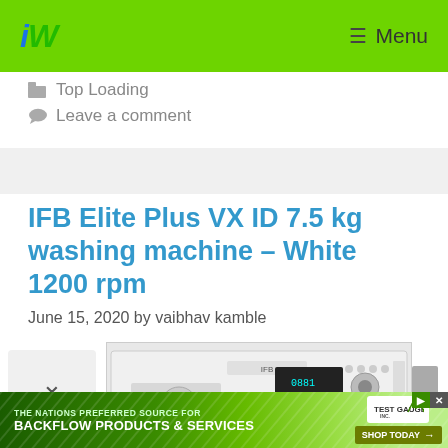iW  Menu
Top Loading
Leave a comment
IFB Elite Plus VX ID 7.5 kg washing machine – White 1200 rpm
June 15, 2020 by vaibhav kamble
[Figure (photo): IFB front-loading washing machine product image, white with black control panel]
[Figure (infographic): Advertisement banner: THE NATIONS PREFERRED SOURCE FOR BACKFLOW PRODUCTS & SERVICES — SHOP TODAY with Test Gauge Inc. logo]